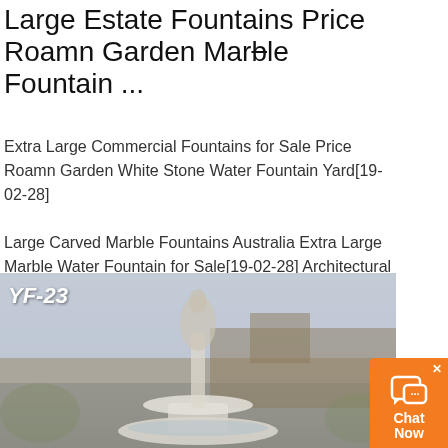Large Estate Fountains Price Roamn Garden Marble Fountain ...
Extra Large Commercial Fountains for Sale Price Roamn Garden White Stone Water Fountain Yard[19-02-28] Large Carved Marble Fountains Australia Extra Large Marble Water Fountain for Sale[19-02-28] Architectural Fountain Pools Canada Large Stone White Stone Water Fountain for Sale[19-02-28]
[Figure (photo): Photo of a large marble garden fountain with figurative sculpture, labeled YF-23, with blurred building and sky background]